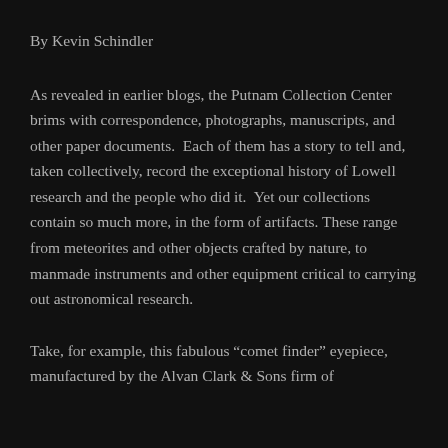By Kevin Schindler
As revealed in earlier blogs, the Putnam Collection Center brims with correspondence, photographs, manuscripts, and other paper documents.  Each of them has a story to tell and, taken collectively, record the exceptional history of Lowell research and the people who did it.  Yet our collections contain so much more, in the form of artifacts. These range from meteorites and other objects crafted by nature, to manmade instruments and other equipment critical to carrying out astronomical research.
Take, for example, this fabulous “comet finder” eyepiece, manufactured by the Alvan Clark & Sons firm of